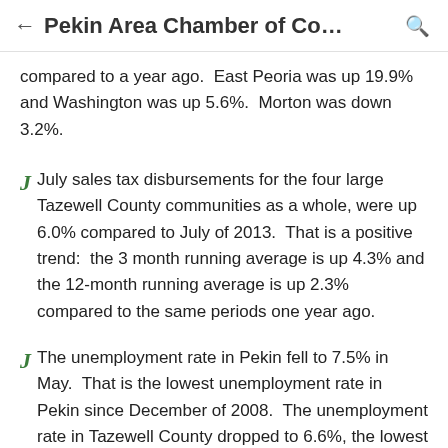← Pekin Area Chamber of Co… 🔍
compared to a year ago.  East Peoria was up 19.9% and Washington was up 5.6%.  Morton was down 3.2%.
J July sales tax disbursements for the four large Tazewell County communities as a whole, were up 6.0% compared to July of 2013.  That is a positive trend:  the 3 month running average is up 4.3% and the 12-month running average is up 2.3% compared to the same periods one year ago.
J The unemployment rate in Pekin fell to 7.5% in May.  That is the lowest unemployment rate in Pekin since December of 2008.  The unemployment rate in Tazewell County dropped to 6.6%, the lowest rate in two years.
J